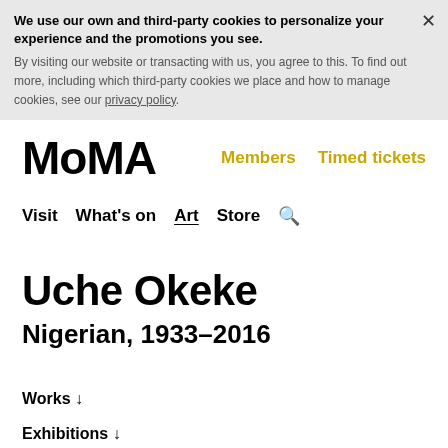We use our own and third-party cookies to personalize your experience and the promotions you see. By visiting our website or transacting with us, you agree to this. To find out more, including which third-party cookies we place and how to manage cookies, see our privacy policy.
MoMA
Members  Timed tickets
Visit  What's on  Art  Store  🔍
Uche Okeke
Nigerian, 1933–2016
Works ↓
Exhibitions ↓